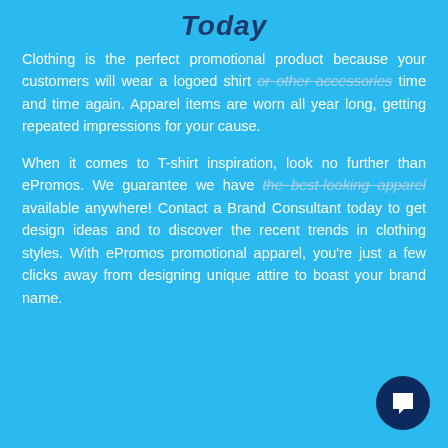Today
Clothing is the perfect promotional product because your customers will wear a logoed shirt or other accessories time and time again. Apparel items are worn all year long, getting repeated impressions for your cause.
When it comes to T-shirt inspiration, look no further than ePromos. We guarantee we have the best-looking apparel available anywhere! Contact a Brand Consultant today to get design ideas and to discover the recent trends in clothing styles. With ePromos promotional apparel, you're just a few clicks away from designing unique attire to boast your brand name.
[Figure (illustration): Dark navy blue circular chat/message button icon in bottom right corner with white speech bubble icon]